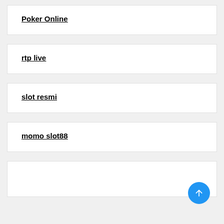Poker Online
rtp live
slot resmi
momo slot88